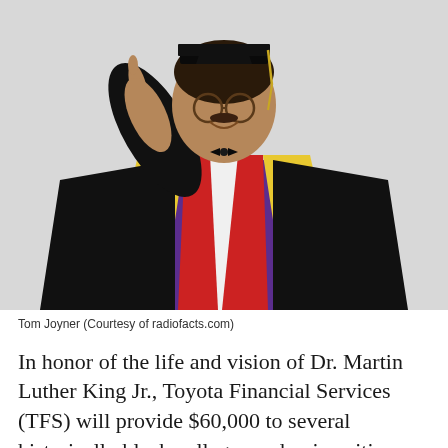[Figure (photo): Tom Joyner wearing academic regalia — a black graduation gown with purple hood, yellow and red stole, and black doctoral cap with gold tassel — smiling and pointing upward with one finger.]
Tom Joyner (Courtesy of radiofacts.com)
In honor of the life and vision of Dr. Martin Luther King Jr., Toyota Financial Services (TFS) will provide $60,000 to several historically black colleges and universities